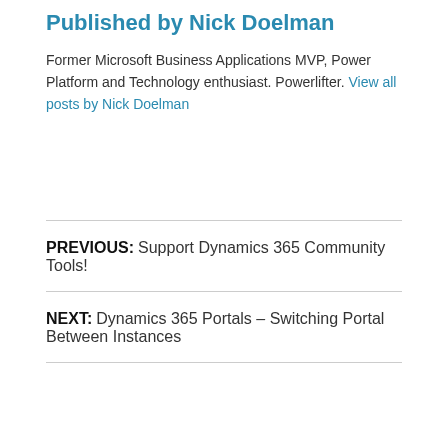Published by Nick Doelman
Former Microsoft Business Applications MVP, Power Platform and Technology enthusiast. Powerlifter. View all posts by Nick Doelman
PREVIOUS: Support Dynamics 365 Community Tools!
NEXT: Dynamics 365 Portals – Switching Portal Between Instances
40 thoughts on “Dynamics 365 Portals –